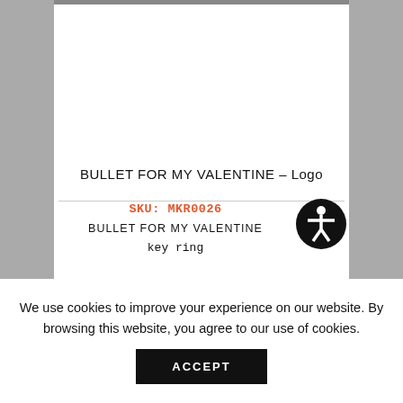BULLET FOR MY VALENTINE – Logo
SKU: MKR0026
BULLET FOR MY VALENTINE
key ring
[Figure (logo): Accessibility icon: black circle with white person figure (wheelchair/accessibility symbol)]
We use cookies to improve your experience on our website. By browsing this website, you agree to our use of cookies.
ACCEPT